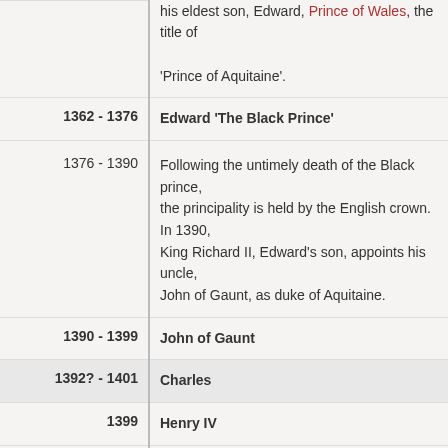| Date | Content |
| --- | --- |
|  | his eldest son, Edward, Prince of Wales, the title of 'Prince of Aquitaine'. |
| 1362-1376 | Edward 'The Black Prince' |
| 1376 - 1390 | Following the untimely death of the Black prince, the principality is held by the English crown. In 1390, King Richard II, Edward's son, appoints his uncle, John of Gaunt, as duke of Aquitaine. |
| 1390-1399 | John of Gaunt |
| 1392?-1401 | Charles |
| 1399 | Henry IV |
| 1399 | Henry IV of England inherits the duchy from his father, but cedes it to his own son as soon as he succeeds to the English throne. That son, Henry V, succeeds in conquering France completely. |
| 1399-1422 | Henry V |